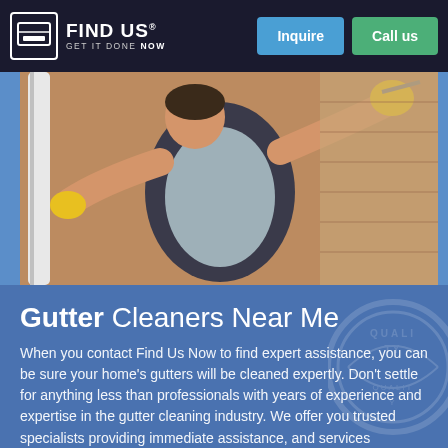FIND US GET IT DONE NOW | Inquire | Call us
[Figure (photo): A worker wearing a dark vest and yellow gloves working on gutters on the exterior wall of a building]
Gutter Cleaners Near Me
When you contact Find Us Now to find expert assistance, you can be sure your home's gutters will be cleaned expertly. Don't settle for anything less than professionals with years of experience and expertise in the gutter cleaning industry. We offer you trusted specialists providing immediate assistance, and services